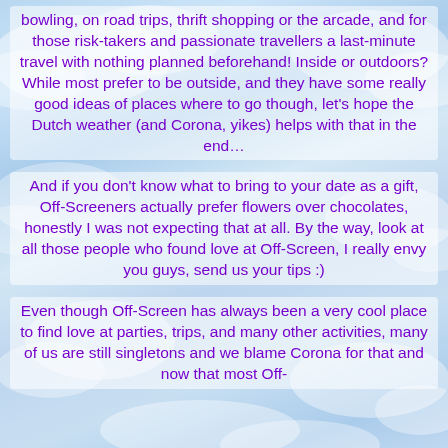bowling, on road trips, thrift shopping or the arcade, and for those risk-takers and passionate travellers a last-minute travel with nothing planned beforehand! Inside or outdoors? While most prefer to be outside, and they have some really good ideas of places where to go though, let's hope the Dutch weather (and Corona, yikes) helps with that in the end…
And if you don't know what to bring to your date as a gift, Off-Screeners actually prefer flowers over chocolates, honestly I was not expecting that at all. By the way, look at all those people who found love at Off-Screen, I really envy you guys, send us your tips :)
Even though Off-Screen has always been a very cool place to find love at parties, trips, and many other activities, many of us are still singletons and we blame Corona for that and now that most Off-